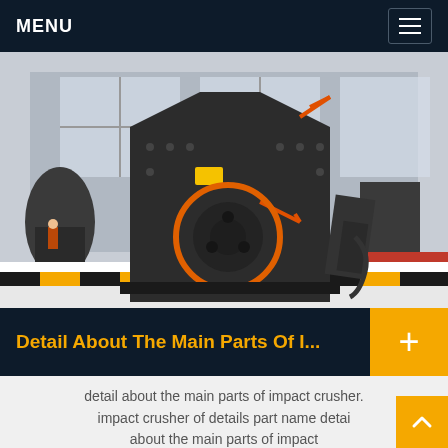MENU
[Figure (photo): Large industrial impact crusher machine in a factory/warehouse setting. The machine is dark grey/black with an orange circular rotor visible on the front face. Orange safety arrows and markings are visible. Yellow and black striped hazard tape is on the floor. Other mining equipment visible in the background.]
Detail About The Main Parts Of I...
detail about the main parts of impact crusher. impact crusher of details part name detail about the main parts of impact crusher.impact crusher of details part name